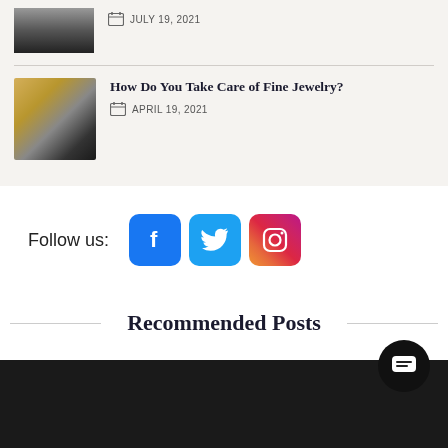[Figure (photo): Brush/pen tools image thumbnail (partial, top of page)]
JULY 19, 2021
[Figure (photo): Fine jewelry / stacked bracelets and rings thumbnail]
How Do You Take Care of Fine Jewelry?
APRIL 19, 2021
Follow us:
[Figure (logo): Facebook, Twitter, Instagram social media icons]
Recommended Posts
[Figure (photo): Dark/black recommended post thumbnail image at bottom]